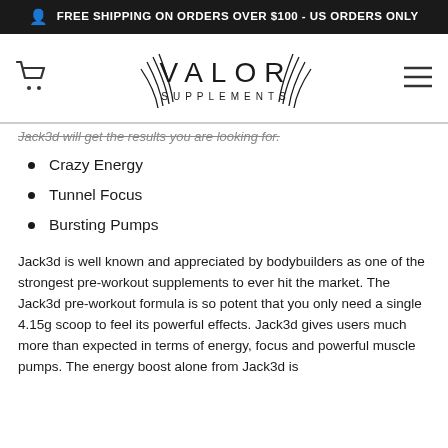FREE SHIPPING ON ORDERS OVER $100 - US ORDERS ONLY
[Figure (logo): Valor Supplements logo with decorative wing/leaf marks flanking the text]
Jack3d will get the results you are looking for.
Crazy Energy
Tunnel Focus
Bursting Pumps
Jack3d is well known and appreciated by bodybuilders as one of the strongest pre-workout supplements to ever hit the market. The Jack3d pre-workout formula is so potent that you only need a single 4.15g scoop to feel its powerful effects. Jack3d gives users much more than expected in terms of energy, focus and powerful muscle pumps. The energy boost alone from Jack3d is